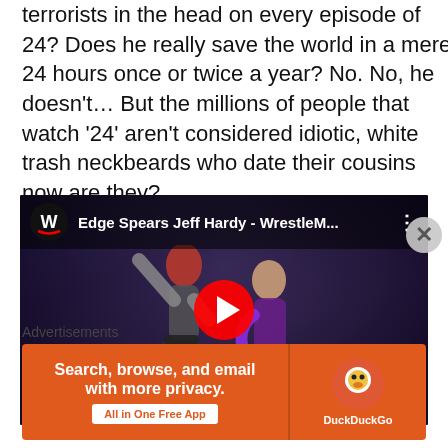terrorists in the head on every episode of 24? Does he really save the world in a mere 24 hours once or twice a year? No. No, he doesn't… But the millions of people that watch '24' aren't considered idiotic, white trash neckbeards who date their cousins now are they?
[Figure (screenshot): YouTube video thumbnail showing WWE wrestlers Edge Spears Jeff Hardy - WrestleM... with play button overlay and WWE logo in top left]
Advertisements
[Figure (screenshot): DuckDuckGo advertisement banner: Search, browse, and email with more privacy. All in One Free App. DuckDuckGo logo on right.]